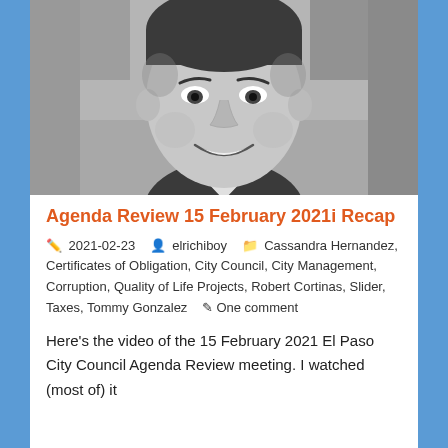[Figure (photo): Black and white stylized photo of a smiling man in a suit, likely a politician or public official.]
Agenda Review 15 February 2021i Recap
2021-02-23   elrichiboy   Cassandra Hernandez, Certificates of Obligation, City Council, City Management, Corruption, Quality of Life Projects, Robert Cortinas, Slider, Taxes, Tommy Gonzalez   One comment
Here's the video of the 15 February 2021 El Paso City Council Agenda Review meeting. I watched (most of) it